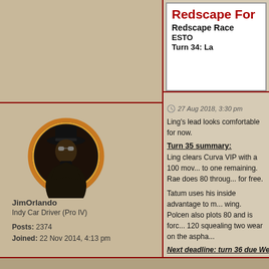Redscape For
Redscape Race
ESTO
Turn 34: La
[Figure (illustration): Forum avatar showing a masked figure in a dark coat and wide-brimmed hat, styled as a vintage portrait in an oval frame with gold and red borders against a black background.]
JimOrlando
Indy Car Driver (Pro IV)
Posts: 2374
Joined: 22 Nov 2014, 4:13 pm
27 Aug 2018, 3:30 pm
Ling's lead looks comfortable for now.
Turn 35 summary:
Ling clears Curva VIP with a 100 mov... to one remaining. Rae does 80 throug... for free.
Tatum uses his inside advantage to m... wing. Polcen also plots 80 and is forc... 120 squealing two wear on the aspha...
Next deadline: turn 36 due Wednes...